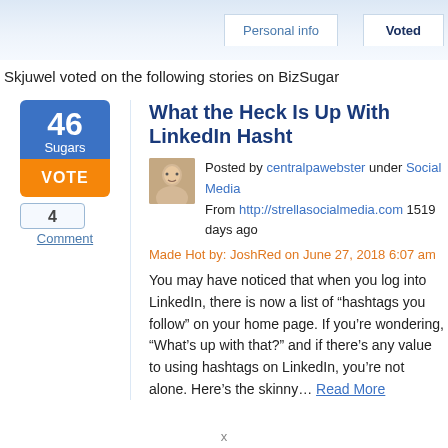Personal info | Voted
Skjuwel voted on the following stories on BizSugar
[Figure (other): Blue vote count box showing 46 Sugars, orange VOTE button, and comment bubble with 4]
What the Heck Is Up With LinkedIn Hashtags?
Posted by centralpawebster under Social Media
From http://strellasocialmedia.com 1519 days ago
Made Hot by: JoshRed on June 27, 2018 6:07 am
You may have noticed that when you log into LinkedIn, there is now a list of “hashtags you follow” on your home page. If you’re wondering, “What’s up with that?” and if there’s any value to using hashtags on LinkedIn, you’re not alone. Here’s the skinny… Read More